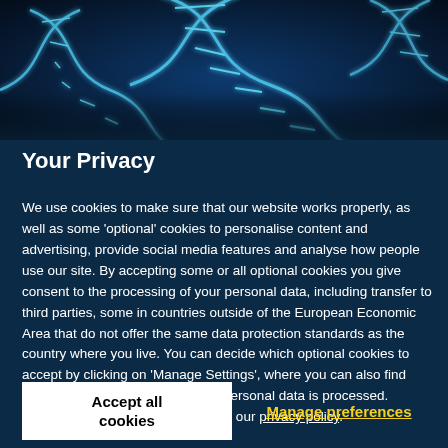[Figure (illustration): Blue glowing DNA double helix strands on a dark navy blue background]
Your Privacy
We use cookies to make sure that our website works properly, as well as some ‘optional’ cookies to personalise content and advertising, provide social media features and analyse how people use our site. By accepting some or all optional cookies you give consent to the processing of your personal data, including transfer to third parties, some in countries outside of the European Economic Area that do not offer the same data protection standards as the country where you live. You can decide which optional cookies to accept by clicking on ‘Manage Settings’, where you can also find more information about how your personal data is processed. Further information can be found in our privacy policy.
Accept all cookies
Manage preferences